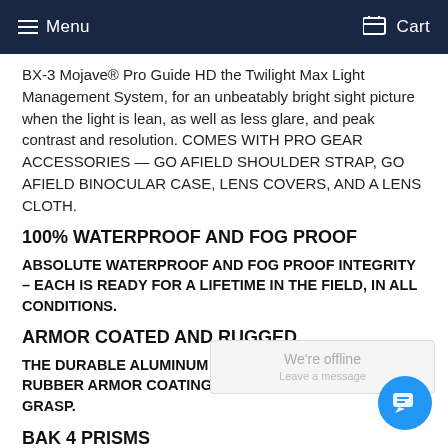Menu  Cart
BX-3 Mojave® Pro Guide HD the Twilight Max Light Management System, for an unbeatably bright sight picture when the light is lean, as well as less glare, and peak contrast and resolution. COMES WITH PRO GEAR ACCESSORIES — GO AFIELD SHOULDER STRAP, GO AFIELD BINOCULAR CASE, LENS COVERS, AND A LENS CLOTH.
100% WATERPROOF AND FOG PROOF
ABSOLUTE WATERPROOF AND FOG PROOF INTEGRITY – EACH IS READY FOR A LIFETIME IN THE FIELD, IN ALL CONDITIONS.
ARMOR COATED AND RUGGED.
THE DURABLE ALUMINUM HOUSING IS SHROUDED IN A RUBBER ARMOR COATING THAT PROVIDES A POSITIVE GRASP.
BAK 4 PRISMS
DELIVERS A PERFECTLY ROUND EXIT PUPIL WITH VIRTUALLY NO EDGE DISTORTION AND A CRISP, CLEAR